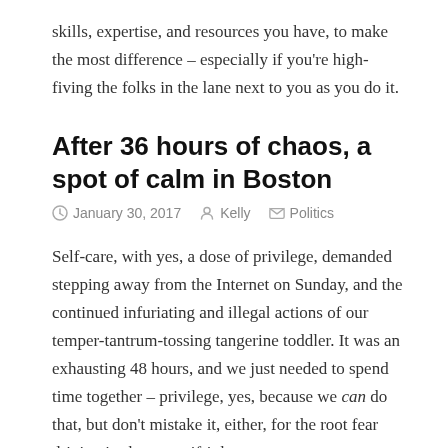skills, expertise, and resources you have, to make the most difference – especially if you're high-fiving the folks in the lane next to you as you do it.
After 36 hours of chaos, a spot of calm in Boston
January 30, 2017  Kelly  Politics
Self-care, with yes, a dose of privilege, demanded stepping away from the Internet on Sunday, and the continued infuriating and illegal actions of our temper-tantrum-tossing tangerine toddler. It was an exhausting 48 hours, and we just needed to spend time together – privilege, yes, because we can do that, but don't mistake it, either, for the root fear driving it: the anger ifrit has